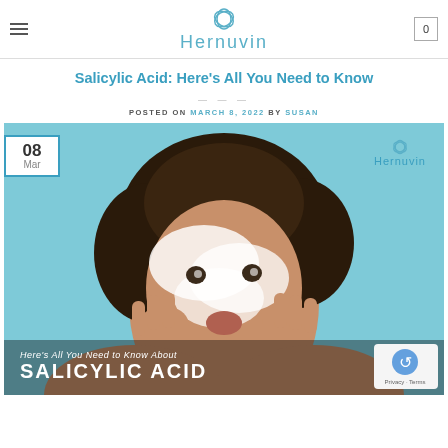Hernuvin
Salicylic Acid: Here’s All You Need to Know
POSTED ON MARCH 8, 2022 BY SUSAN
[Figure (photo): Woman with foam/cream on her face applying a facial cleanser, on a teal/blue background. Date badge '08 Mar' in top left corner, Hernuvin logo in top right. Bottom overlay text reads 'Here’s All You Need to Know About SALICYLIC ACID'. reCAPTCHA privacy badge in bottom right.]